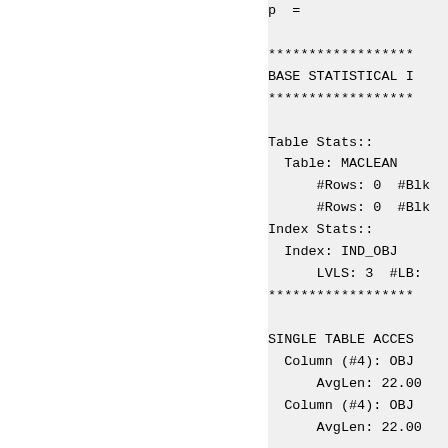p  =
******************
BASE STATISTICAL I
******************
Table Stats::
  Table: MACLEAN
      #Rows: 0  #Blk
      #Rows: 0  #Blk
Index Stats::
  Index: IND_OBJ
      LVLS: 3  #LB:
******************
SINGLE TABLE ACCES
  Column (#4): OBJ
      AvgLen: 22.00
  Column (#4): OBJ
      AvgLen: 22.00